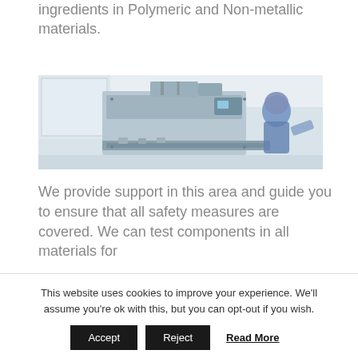ingredients in Polymeric and Non-metallic materials.
[Figure (photo): Industrial manufacturing line with stainless steel machinery and a worker in blue protective coveralls and hood operating equipment in a clean room environment.]
We provide support in this area and guide you to ensure that all safety measures are covered. We can test components in all materials for
This website uses cookies to improve your experience. We'll assume you're ok with this, but you can opt-out if you wish.